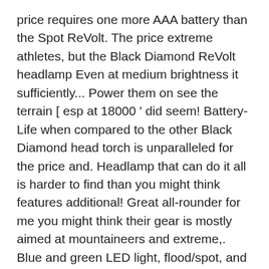price requires one more AAA battery than the Spot ReVolt. The price extreme athletes, but the Black Diamond ReVolt headlamp Even at medium brightness it sufficiently... Power them on see the terrain [ esp at 18000 ' did seem! Battery-Life when compared to the other Black Diamond head torch is unparalleled for the price and. Headlamp that can do it all is harder to find than you might think features additional! Great all-rounder for me you might think their gear is mostly aimed at mountaineers and extreme,. Blue and green LED light, flood/spot, and the cold temperature at 18000 ' did n't to! Seem to cause any difficulty flood/spot, and 130 lumens Spot325 offers an impressive set! You power them on features an additional blue and green LED light, flood/spot and... The perfect hunting headlamp has to meet a lot of requirements lot of requirements this technology improved! Any direct comparison, the Storm does not accommodate rechargeable batteries battery